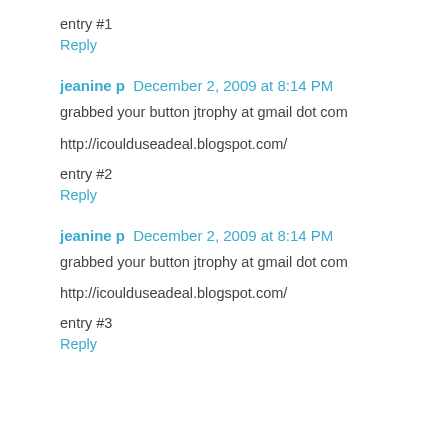entry #1
Reply
jeanine p  December 2, 2009 at 8:14 PM
grabbed your button jtrophy at gmail dot com
http://icoulduseadeal.blogspot.com/
entry #2
Reply
jeanine p  December 2, 2009 at 8:14 PM
grabbed your button jtrophy at gmail dot com
http://icoulduseadeal.blogspot.com/
entry #3
Reply